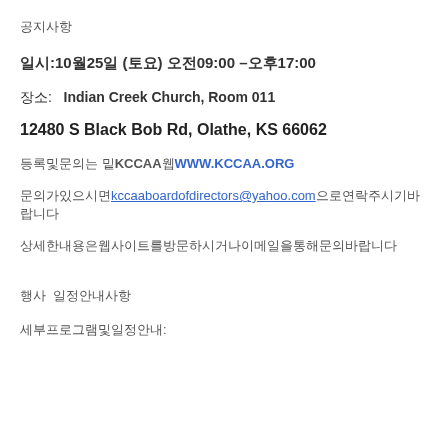공지사항
일시: 10월25일 (토요) 오전09:00 –오후17:00
장소:   Indian Creek Church, Room 011
12480 S Black Bob Rd, Olathe, KS 66062
등록및문의는 밑KCCAA웹WWW.KCCAA.ORG
문의가있으시면kccaaboardofdirectors@yahoo.com으로연락주시기바랍니다
상세한내용은웹사이트를방문하시거나이메일을통해문의바랍니다
행사 일정안내사항
세부프로그램및일정안내: